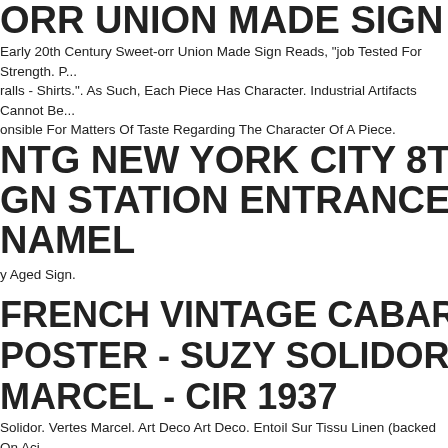...ORR UNION MADE SIGN
Early 20th Century Sweet-orr Union Made Sign Reads, "job Tested For Strength. P... ralls - Shirts.". As Such, Each Piece Has Character. Industrial Artifacts Cannot Be... onsible For Matters Of Taste Regarding The Character Of A Piece.
NTG NEW YORK CITY 8TH AVE SUBWAY SIGN STATION ENTRANCE ISS IND GREEN ENAMEL
y Aged Sign.
FRENCH VINTAGE CABARET THEATRE POSTER - SUZY SOLIDOR BY VERTES MARCEL - CIR 1937
Solidor. Vertes Marcel. Art Deco Art Deco. Entoil Sur Tissu Linen (backed On Aci... Paper And Cotton Canvas). Material Matriau. A ( Trs Bon tat ) A (very Fine). Condi...
VINTAGE ROLLAKAN